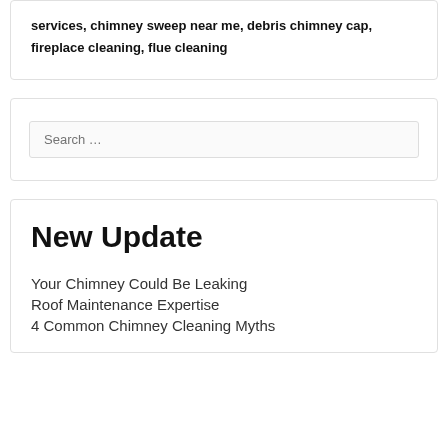services, chimney sweep near me, debris chimney cap, fireplace cleaning, flue cleaning
Search …
New Update
Your Chimney Could Be Leaking
Roof Maintenance Expertise
4 Common Chimney Cleaning Myths